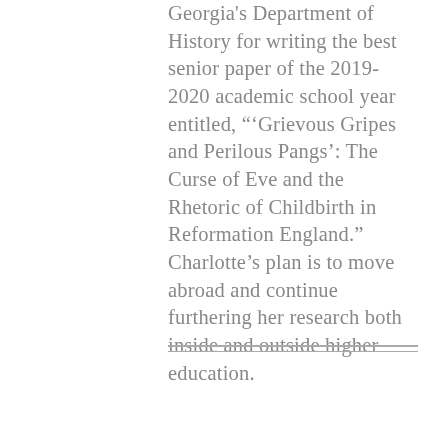Georgia's Department of History for writing the best senior paper of the 2019-2020 academic school year entitled, "‘Grievous Gripes and Perilous Pangs’: The Curse of Eve and the Rhetoric of Childbirth in Reformation England." Charlotte’s plan is to move abroad and continue furthering her research both inside and outside higher education.